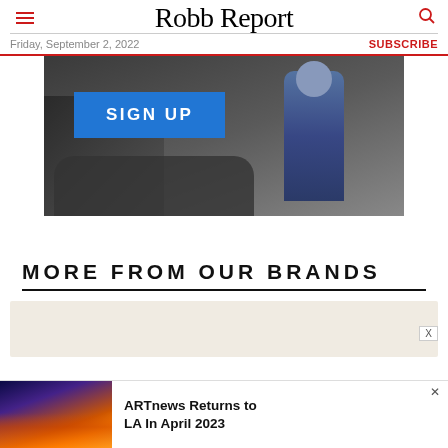Robb Report
Friday, September 2, 2022
SUBSCRIBE
[Figure (photo): Advertisement banner with a blue SIGN UP button and a person stepping out of a luxury car]
MORE FROM OUR BRANDS
[Figure (other): Beige/tan placeholder card for brand content]
[Figure (photo): Bottom advertisement banner: ARTnews Returns to LA In April 2023, with a city skyline image on the left]